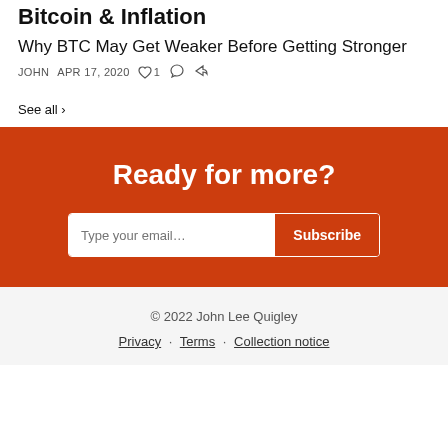Bitcoin & Inflation
Why BTC May Get Weaker Before Getting Stronger
JOHN  APR 17, 2020  ♥ 1
See all ›
Ready for more?
Type your email… Subscribe
© 2022 John Lee Quigley
Privacy · Terms · Collection notice